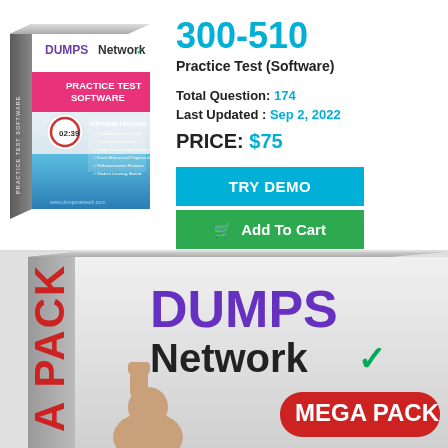[Figure (photo): Practice Test Software box product image with DUMPS Network branding, blue and white design]
300-510
Practice Test (Software)
Total Question: 174
Last Updated : Sep 2, 2022
PRICE: $75
TRY DEMO
Add To Cart
[Figure (photo): Large DUMPS Network Mega Pack product box image, partially cropped, showing DUMPS Network logo in purple and black, MEGA PACK red badge, and a person raising fist]